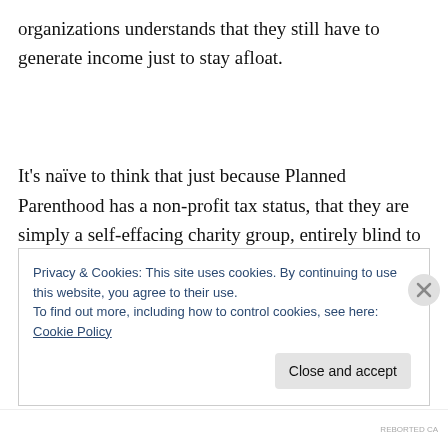organizations understands that they still have to generate income just to stay afloat.
It's naïve to think that just because Planned Parenthood has a non-profit tax status, that they are simply a self-effacing charity group, entirely blind to the allure of profits and financial growth. Now, Planned Parenthood maintains enormous financial sway, politically and culturally, as the
Privacy & Cookies: This site uses cookies. By continuing to use this website, you agree to their use.
To find out more, including how to control cookies, see here: Cookie Policy
Close and accept